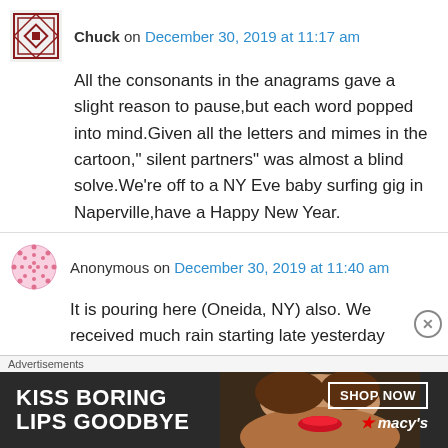Chuck on December 30, 2019 at 11:17 am
All the consonants in the anagrams gave a slight reason to pause,but each word popped into mind.Given all the letters and mimes in the cartoon," silent partners" was almost a blind solve.We’re off to a NY Eve baby surfing gig in Naperville,have a Happy New Year.
Anonymous on December 30, 2019 at 11:40 am
It is pouring here (Oneida, NY) also. We received much rain starting late yesterday
Advertisements
[Figure (other): Macy's advertisement banner: KISS BORING LIPS GOODBYE with SHOP NOW button and Macy's star logo, woman's face visible]